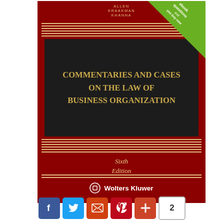[Figure (photo): Book cover of 'Commentaries and Cases on the Law of Business Organization, Sixth Edition' by Allen, Kraakman, Khanna, published by Wolters Kluwer. Red cover with dark central title box, gold stripe decorations, and green corner badge.]
ALLEN KRAAKMAN KHANNA
COMMENTARIES AND CASES ON THE LAW OF BUSINESS ORGANIZATION
Sixth Edition
Wolters Kluwer